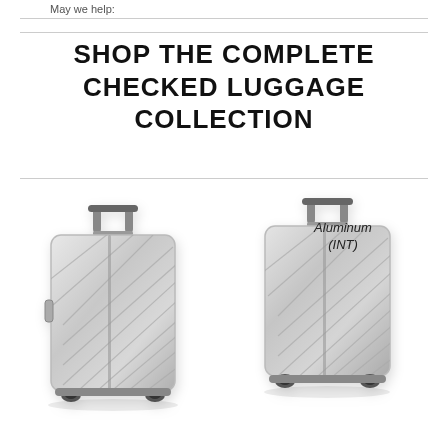May we help:
SHOP THE COMPLETE CHECKED LUGGAGE COLLECTION
[Figure (illustration): Silver aluminum hard-shell rolling luggage suitcase, left side, front-facing view with telescoping handle extended]
[Figure (illustration): Silver aluminum hard-shell rolling luggage suitcase, right side, front-facing view with telescoping handle extended]
Aluminum (INT)